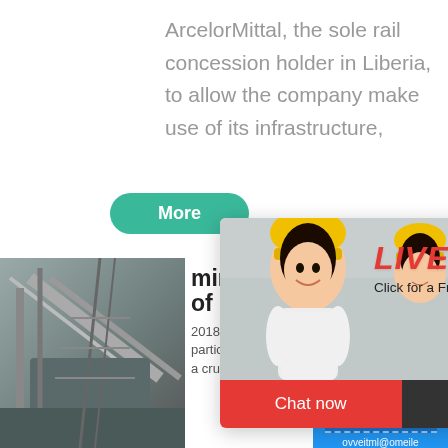ArcelorMittal, the sole rail concession holder in Liberia, to allow the company make use of its infrastructure,
More
[Figure (screenshot): Live chat popup overlay with workers wearing yellow hard hats. Shows 'LIVE CHAT' in red italic text, 'Click for a Free Consultation' subtitle, and two buttons: 'Chat now' (red) and 'Chat later' (dark grey). Close button (X) in top right.]
[Figure (photo): Industrial conveyor belt and mining infrastructure photographed from below at an angle.]
mineral po of Liberia
2018-10-1   The min particular iron ore, h a crucial role in the
[Figure (screenshot): Right sidebar in blue: 'hour online', image of mining/crushing machine, 'Click me to chat>>' button in blue, 'Enquiry' in bold white, and partial email address.]